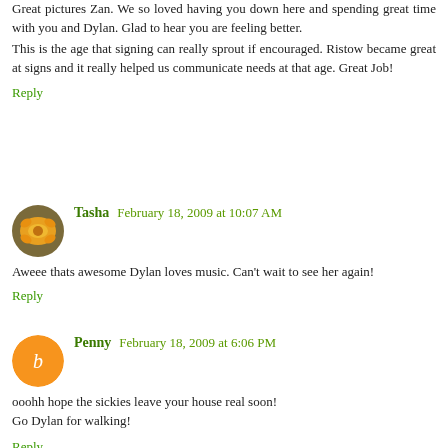Great pictures Zan. We so loved having you down here and spending great time with you and Dylan. Glad to hear you are feeling better.
This is the age that signing can really sprout if encouraged. Ristow became great at signs and it really helped us communicate needs at that age. Great Job!
Reply
Tasha  February 18, 2009 at 10:07 AM
Aweee thats awesome Dylan loves music. Can't wait to see her again!
Reply
Penny  February 18, 2009 at 6:06 PM
ooohh hope the sickies leave your house real soon!
Go Dylan for walking!
Reply